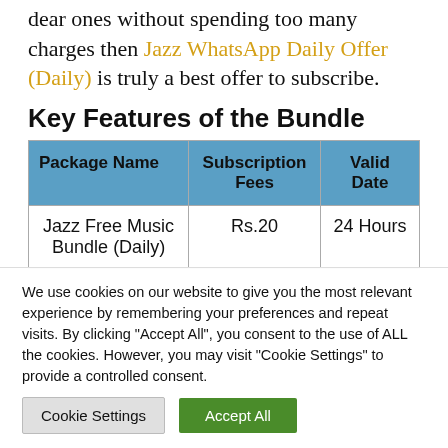dear ones without spending too many charges then Jazz WhatsApp Daily Offer (Daily) is truly a best offer to subscribe.
Key Features of the Bundle
| Package Name | Subscription Fees | Valid Date |
| --- | --- | --- |
| Jazz Free Music Bundle (Daily) | Rs.20 | 24 Hours |
We use cookies on our website to give you the most relevant experience by remembering your preferences and repeat visits. By clicking "Accept All", you consent to the use of ALL the cookies. However, you may visit "Cookie Settings" to provide a controlled consent.
Cookie Settings | Accept All